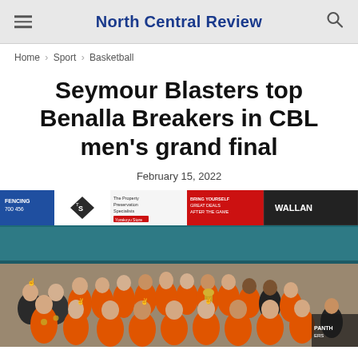North Central Review
Home › Sport › Basketball
Seymour Blasters top Benalla Breakers in CBL men's grand final
February 15, 2022
[Figure (photo): Group photo of the Seymour Blasters basketball team celebrating their CBL men's grand final victory, wearing orange and black uniforms, posing with a trophy inside a basketball stadium with sponsor banners on the wall.]